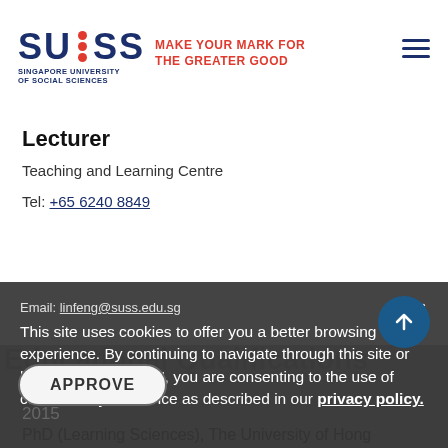[Figure (logo): SUSS Singapore University of Social Sciences logo with tagline MAKE YOUR MARK FOR THE GREATER GOOD]
Lecturer
Teaching and Learning Centre
Tel: +65 6240 8849
Email: linfeng@suss.edu.sg
This site uses cookies to offer you a better browsing experience. By continuing to navigate through this site or by clicking "Approve", you are consenting to the use of cookies on your device as described in our privacy policy.
Educational Qualifications
2015
PhD (Learning Sciences), The University of Hong